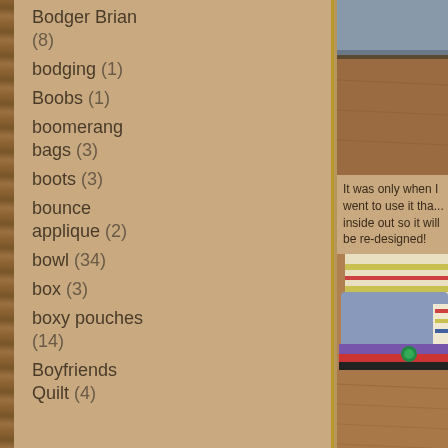Bodger Brian (8)
bodging (1)
Boobs (1)
boomerang bags (3)
boots (3)
bounce applique (2)
bowl (34)
box (3)
boxy pouches (14)
Boyfriends Quilt (4)
[Figure (photo): Close-up photo of a fabric item edge showing stitching, blue-grey fabric, and brown leather-like material]
It was only when I went to use it tha... inside out so it will be re-designed!
[Figure (photo): Close-up photo of a zippered pouch showing layers of fabric including striped, blue-grey denim, purple zipper tape, red zipper tape, and a green zipper pull, on a brown surface]